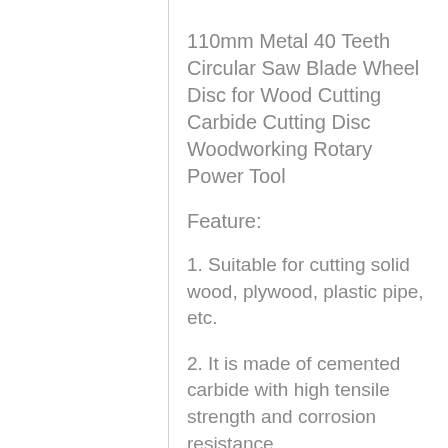110mm Metal 40 Teeth Circular Saw Blade Wheel Disc for Wood Cutting Carbide Cutting Disc Woodworking Rotary Power Tool
Feature:
1. Suitable for cutting solid wood, plywood, plastic pipe, etc.
2. It is made of cemented carbide with high tensile strength and corrosion resistance.
3. The cutting teeth are arranged in order, the